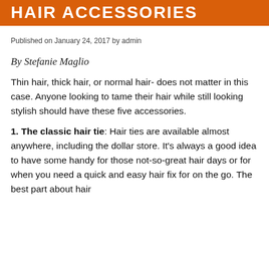HAIR ACCESSORIES
Published on January 24, 2017 by admin
By Stefanie Maglio
Thin hair, thick hair, or normal hair- does not matter in this case. Anyone looking to tame their hair while still looking stylish should have these five accessories.
1. The classic hair tie: Hair ties are available almost anywhere, including the dollar store. It's always a good idea to have some handy for those not-so-great hair days or for when you need a quick and easy hair fix for on the go. The best part about hair